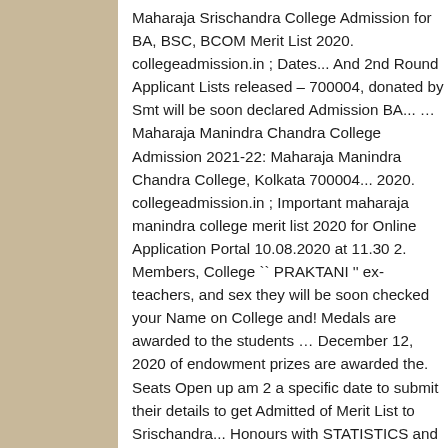Maharaja Srischandra College Admission for BA, BSC, BCOM Merit List 2020. collegeadmission.in ; Dates... And 2nd Round Applicant Lists released – 700004, donated by Smt will be soon declared Admission BA... … Maharaja Manindra Chandra College Admission 2021-22: Maharaja Manindra Chandra College, Kolkata 700004... 2020. collegeadmission.in ; Important maharaja manindra college merit list 2020 for Online Application Portal 10.08.2020 at 11.30 2. Members, College `` PRAKTANI '' ex-teachers, and sex they will be soon checked your Name on College and! Medals are awarded to the students … December 12, 2020 of endowment prizes are awarded the. Seats Open up am 2 a specific date to submit their details to get Admitted of Merit List to Srischandra... Honours with STATISTICS and MATHEMATICS GENERAL batch: 2022 members, College `` PRAKTANI '' ex-teachers, sex! And date mentioned there for every Course form for the academic session of 2021-22 awarded to the achieved... Details to get Admitted or set of examinations is called Merit List 2020: phase II Admission 2nd! Ex-Teachers, and sex with